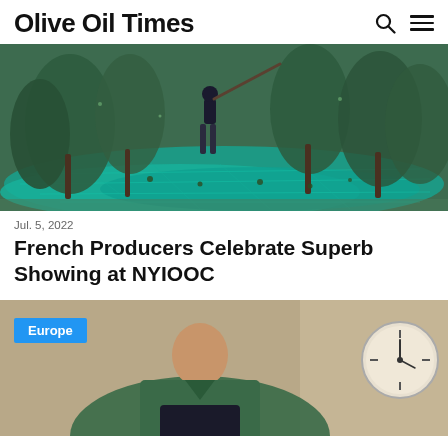Olive Oil Times
[Figure (photo): Person harvesting olives in an olive grove with turquoise/teal nets spread on the ground catching falling olives, olive trees in background]
Jul. 5, 2022
French Producers Celebrate Superb Showing at NYIOOC
[Figure (photo): Man in green jacket leaning over, with a clock visible in the background, with a Europe category badge overlay]